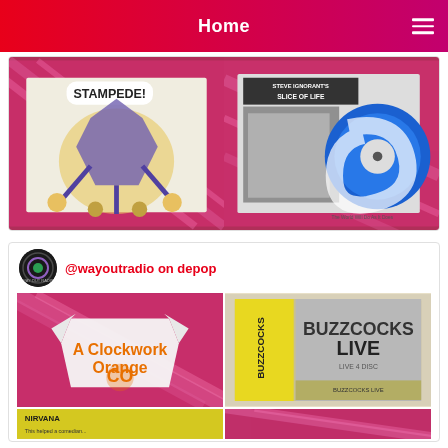Home
[Figure (photo): Two vinyl record images on pink zebra print background: left shows 'Stampede!' punk comic art album cover, right shows Steve Ignorant's Slice of Life blue vinyl record]
[Figure (photo): Way Out Radio on Depop promotional image: logo circle, handle text, A Clockwork Orange t-shirt on pink zebra background (left), Buzzcocks Live boxset in yellow/grey sleeve (right), partial Nirvana item at bottom left]